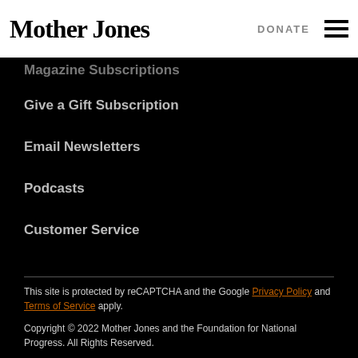Mother Jones | DONATE
Magazine Subscriptions
Give a Gift Subscription
Email Newsletters
Podcasts
Customer Service
This site is protected by reCAPTCHA and the Google Privacy Policy and Terms of Service apply.
Copyright © 2022 Mother Jones and the Foundation for National Progress. All Rights Reserved.
Terms of Service    Privacy Policy